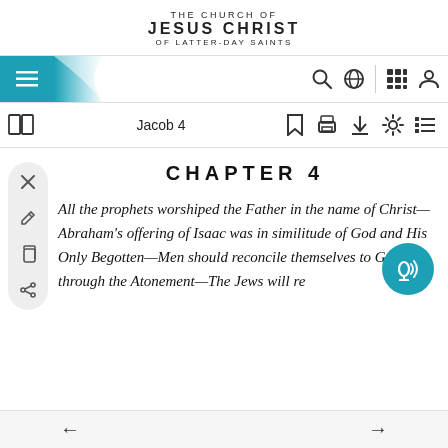THE CHURCH OF JESUS CHRIST OF LATTER-DAY SAINTS
[Figure (screenshot): Navigation bar with hamburger menu (teal background), search icon, globe icon, grid icon, and profile icon]
[Figure (screenshot): Toolbar with book icon, 'Jacob 4' title, bookmark, print, download, settings, and list icons]
CHAPTER 4
All the prophets worshiped the Father in the name of Christ—Abraham's offering of Isaac was in similitude of God and His Only Begotten—Men should reconcile themselves to God through the Atonement—The Jews will re...
← →